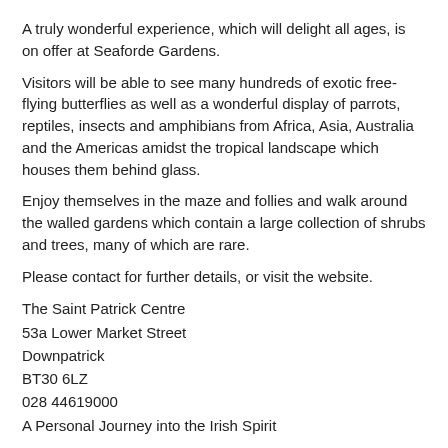A truly wonderful experience, which will delight all ages, is on offer at Seaforde Gardens.
Visitors will be able to see many hundreds of exotic free-flying butterflies as well as a wonderful display of parrots, reptiles, insects and amphibians from Africa, Asia, Australia and the Americas amidst the tropical landscape which houses them behind glass.
Enjoy themselves in the maze and follies and walk around the walled gardens which contain a large collection of shrubs and trees, many of which are rare.
Please contact for further details, or visit the website.
The Saint Patrick Centre
53a Lower Market Street
Downpatrick
BT30 6LZ
028 44619000
A Personal Journey into the Irish Spirit
This centre uses 21st Century technology to tell the fascinating story of Ireland's Patron Saint and reveals a wealth of information about the arrival of Christianity in Ireland and its development through his mission.